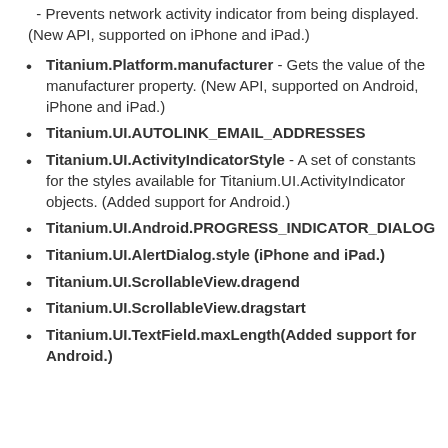- Prevents network activity indicator from being displayed. (New API, supported on iPhone and iPad.)
Titanium.Platform.manufacturer - Gets the value of the manufacturer property. (New API, supported on Android, iPhone and iPad.)
Titanium.UI.AUTOLINK_EMAIL_ADDRESSES
Titanium.UI.ActivityIndicatorStyle - A set of constants for the styles available for Titanium.UI.ActivityIndicator objects. (Added support for Android.)
Titanium.UI.Android.PROGRESS_INDICATOR_DIALOG
Titanium.UI.AlertDialog.style (iPhone and iPad.)
Titanium.UI.ScrollableView.dragend
Titanium.UI.ScrollableView.dragstart
Titanium.UI.TextField.maxLength(Added support for Android.)